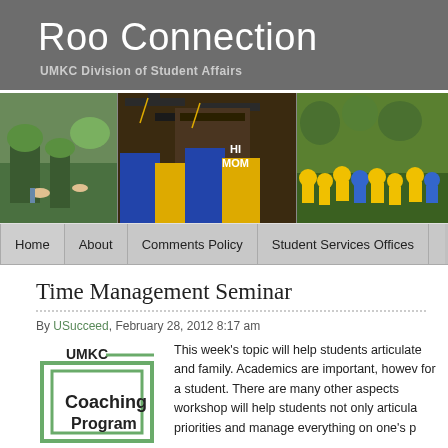Roo Connection
UMKC Division of Student Affairs
[Figure (photo): Three photos: campus lawn scene, graduation caps with 'HI MOM', and students in yellow shirts outdoors]
Home | About | Comments Policy | Student Services Offices | ...
Time Management Seminar
By USucceed, February 28, 2012 8:17 am
[Figure (logo): UMKC Coaching Program logo with nested rectangles]
This week's topic will help students articulate and family. Academics are important, howev for a student. There are many other aspects workshop will help students not only articula priorities and manage everything on one's p